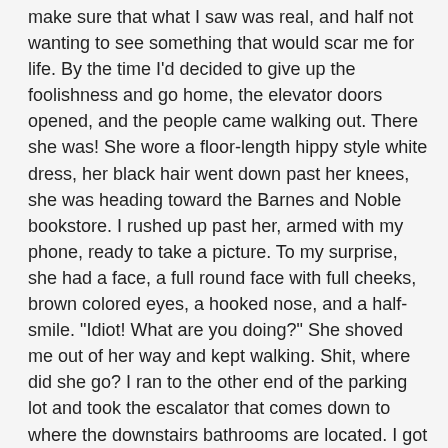make sure that what I saw was real, and half not wanting to see something that would scar me for life. By the time I'd decided to give up the foolishness and go home, the elevator doors opened, and the people came walking out. There she was! She wore a floor-length hippy style white dress, her black hair went down past her knees, she was heading toward the Barnes and Noble bookstore. I rushed up past her, armed with my phone, ready to take a picture. To my surprise, she had a face, a full round face with full cheeks, brown colored eyes, a hooked nose, and a half-smile. "Idiot! What are you doing?" She shoved me out of her way and kept walking. Shit, where did she go? I ran to the other end of the parking lot and took the escalator that comes down to where the downstairs bathrooms are located. I got a glimpse of her heading toward it. She stopped suddenly, and with her formless face, she looked up in my direction. There was a pause for a second, and then she turned and walked back in the opposite direction. I followed her past the toy store and past the sushi place and the theaters. She walked briskly down the hallway toward the bathrooms and stepped into one of the entrances. Being uncertain as to whether she went into the family bathroom, the women's restroom, or